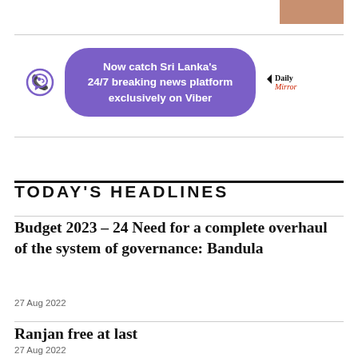[Figure (photo): Partial photo visible at top right corner]
[Figure (infographic): Viber advertisement banner: purple pill-shaped element with text 'Now catch Sri Lanka's 24/7 breaking news platform exclusively on Viber', viber icon on the left, Daily Mirror logo on the right]
TODAY'S HEADLINES
Budget 2023 – 24 Need for a complete overhaul of the system of governance: Bandula
27 Aug 2022
Ranjan free at last
27 Aug 2022